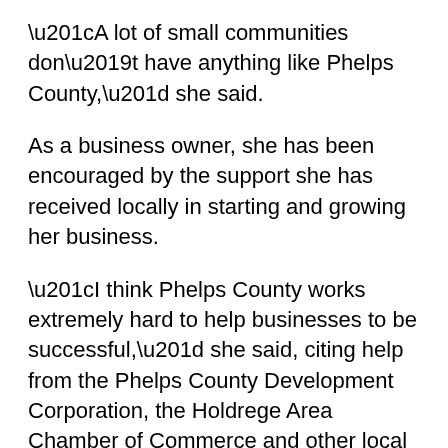“A lot of small communities don’t have anything like Phelps County,” she said.
As a business owner, she has been encouraged by the support she has received locally in starting and growing her business.
“I think Phelps County works extremely hard to help businesses to be successful,” she said, citing help from the Phelps County Development Corporation, the Holdrege Area Chamber of Commerce and other local entrepreneurs.
Fye said the first step to bringing in new young professionals is to have jobs available and then to share with prospects all the great opportunities in Phelps County.
The...